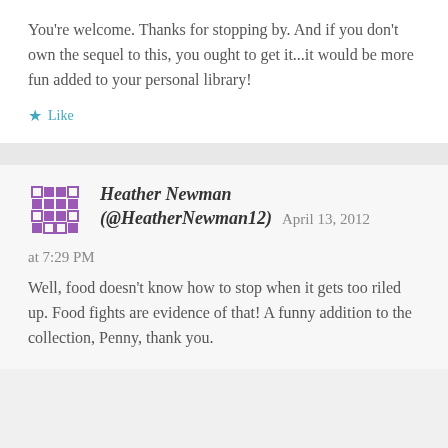You're welcome. Thanks for stopping by. And if you don't own the sequel to this, you ought to get it...it would be more fun added to your personal library!
★ Like
Heather Newman (@HeatherNewman12) April 13, 2012 at 7:29 PM
Well, food doesn't know how to stop when it gets too riled up. Food fights are evidence of that! A funny addition to the collection, Penny, thank you.